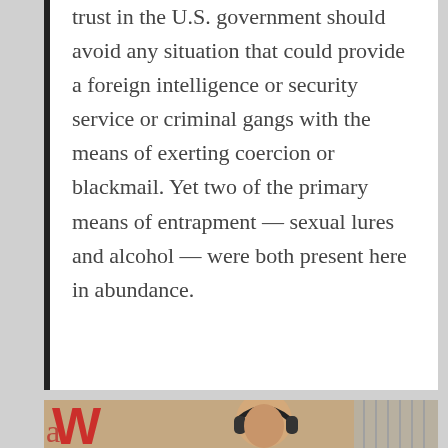trust in the U.S. government should avoid any situation that could provide a foreign intelligence or security service or criminal gangs with the means of exerting coercion or blackmail. Yet two of the primary means of entrapment — sexual lures and alcohol — were both present here in abundance.
[Figure (photo): A woman wearing headphones, seated in what appears to be a broadcast studio. Visible in the background is a large red letter 'W' logo and a striped panel. The image is cropped showing her face and upper body.]